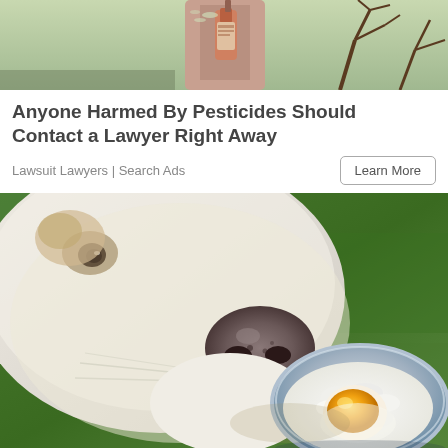[Figure (photo): Top portion of an advertisement image showing a person spraying pesticides near bare tree branches, with an orange/red spray bottle visible]
Anyone Harmed By Pesticides Should Contact a Lawyer Right Away
Lawsuit Lawyers | Search Ads
[Figure (photo): Close-up photo of a white dog sniffing a metal bowl containing cottage cheese and a raw egg yolk, with green grass visible in the background]